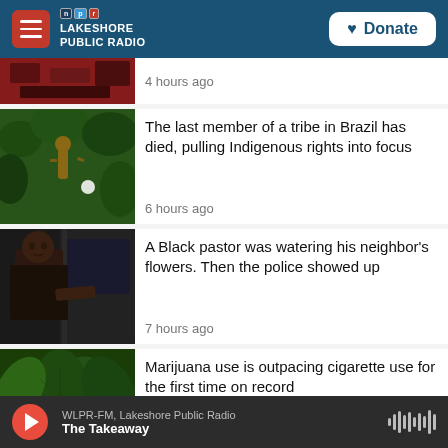Lakeshore Public Radio — NPR
[Figure (screenshot): Partial news item thumbnail — red/forest aerial view]
4 hours ago
[Figure (photo): Person in rainforest/jungle]
The last member of a tribe in Brazil has died, pulling Indigenous rights into focus
6 hours ago
[Figure (photo): Black man standing next to a car door]
A Black pastor was watering his neighbor's flowers. Then the police showed up
7 hours ago
[Figure (photo): Marijuana plant close-up]
Marijuana use is outpacing cigarette use for the first time on record
8 hours ago
WLPR-FM, Lakeshore Public Radio — The Takeaway